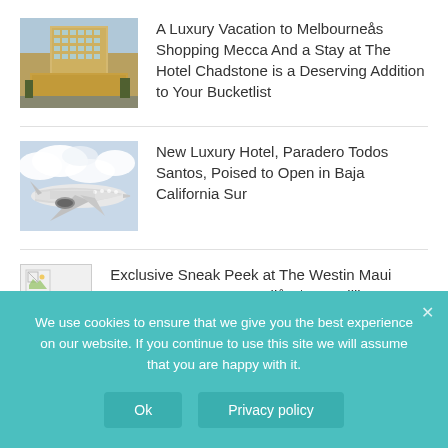[Figure (photo): Hotel building exterior photo - tall modern hotel with golden/glass facade]
A Luxury Vacation to Melbourneås Shopping Mecca And a Stay at The Hotel Chadstone is a Deserving Addition to Your Bucketlist
[Figure (photo): Airplane in flight photo - white commercial aircraft flying through clouds]
New Luxury Hotel, Paradero Todos Santos, Poised to Open in Baja California Sur
[Figure (photo): Placeholder image with broken image icon]
Exclusive Sneak Peek at The Westin Maui Resort & Spa, Ka'anapaliås $120 Million
We use cookies to ensure that we give you the best experience on our website. If you continue to use this site we will assume that you are happy with it.